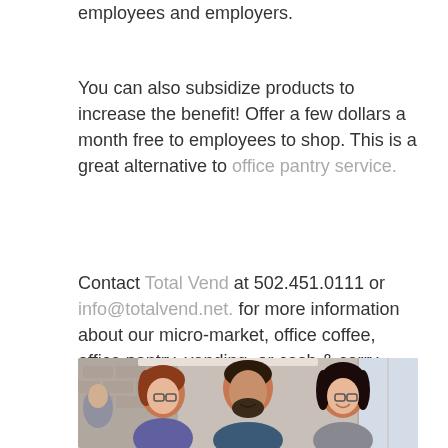employees and employers.
You can also subsidize products to increase the benefit! Offer a few dollars a month free to employees to shop. This is a great alternative to office pantry service.
Contact Total Vend at 502.451.0111 or info@totalvend.net. for more information about our micro-market, office coffee, office pantry, vending, or cash & carry services. We look forward to working with you!
[Figure (photo): Three employees smiling and talking in an office setting. A woman with red hair and glasses on the left, a bearded man in the center, and a woman with dark hair and glasses on the right.]